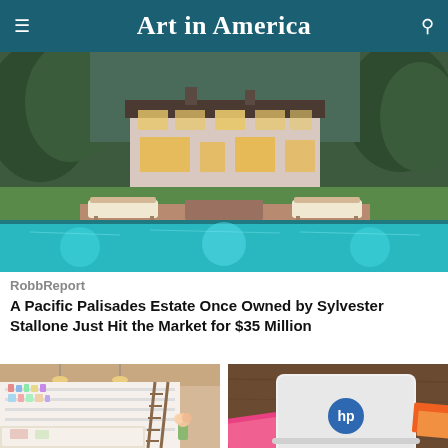Art in America
[Figure (photo): Aerial/backyard view of a luxury Pacific Palisades estate with a large swimming pool, lounge chairs on a terrace, and a two-story house with large windows surrounded by trees, photographed at dusk.]
RobbReport
A Pacific Palisades Estate Once Owned by Sylvester Stallone Just Hit the Market for $35 Million
[Figure (photo): Interior of a bright boutique or pharmacy/beauty store with white shelving units filled with products, display cases, and a rolling ladder.]
[Figure (photo): HP Chromebook laptop on a wooden table with colorful folders/books visible underneath.]